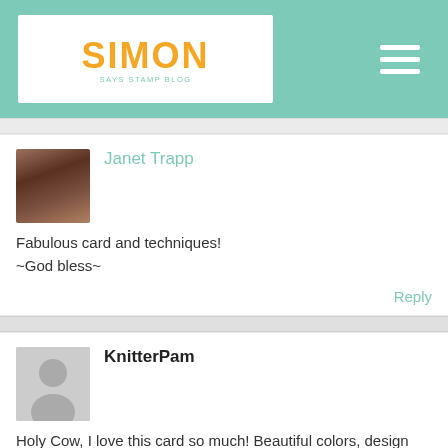Simon Says Stamp Blog
Janet Trapp
Fabulous card and techniques!
~God bless~
Reply
KnitterPam
Holy Cow, I love this card so much! Beautiful colors, design and just the right amount of glitter!